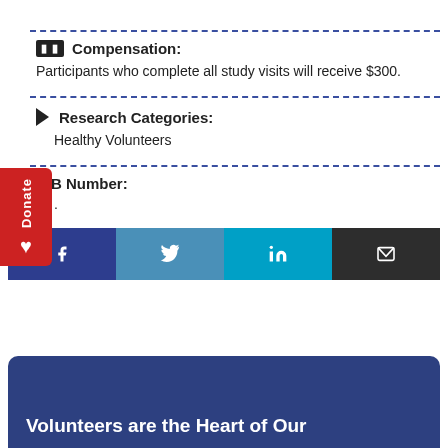Compensation:
Participants who complete all study visits will receive $300.
Research Categories:
Healthy Volunteers
IRB Number:
.
[Figure (infographic): Social media sharing bar with Facebook, Twitter, LinkedIn, and email icons]
Volunteers are the Heart of Our